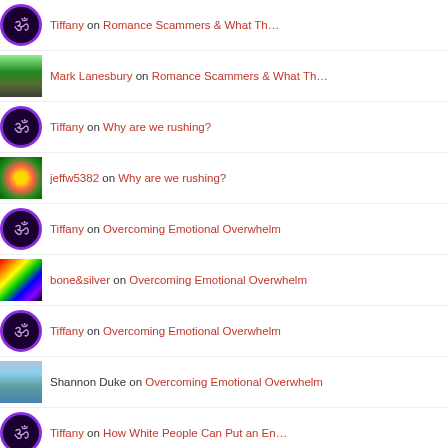Tiffany on Romance Scammers & What Th…
Mark Lanesbury on Romance Scammers & What Th…
Tiffany on Why are we rushing?
jeffw5382 on Why are we rushing?
Tiffany on Overcoming Emotional Overwhelm
bone&silver on Overcoming Emotional Overwhelm
Tiffany on Overcoming Emotional Overwhelm
Shannon Duke on Overcoming Emotional Overwhelm
Tiffany on How White People Can Put an En…
on How White People Can Put…